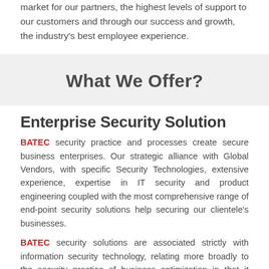market for our partners, the highest levels of support to our customers and through our success and growth, the industry's best employee experience.
What We Offer?
Enterprise Security Solution
BATEC security practice and processes create secure business enterprises. Our strategic alliance with Global Vendors, with specific Security Technologies, extensive experience, expertise in IT security and product engineering coupled with the most comprehensive range of end-point security solutions help securing our clientele's businesses.
BATEC security solutions are associated strictly with information security technology, relating more broadly to the security practice of business optimization in that it addresses business security, infrastructure, business security architecture